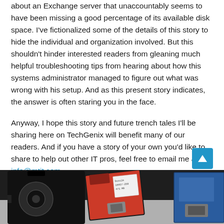about an Exchange server that unaccountably seems to have been missing a good percentage of its available disk space. I've fictionalized some of the details of this story to hide the individual and organization involved. But this shouldn't hinder interested readers from gleaning much helpful troubleshooting tips from hearing about how this systems administrator managed to figure out what was wrong with his setup. And as this present story indicates, the answer is often staring you in the face.
Anyway, I hope this story and future trench tales I'll be sharing here on TechGenix will benefit many of our readers. And if you have a story of your own you'd like to share to help out other IT pros, feel free to email me at info@mtit.com.
The problem
[Figure (photo): Photo of vintage floppy disks on a surface — a large black 5.25-inch floppy, a red 3.5-inch floppy with a white label, and a blue floppy disk partially visible on the right]